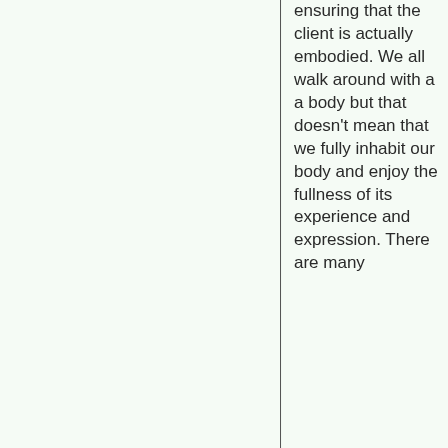ensuring that the client is actually embodied. We all walk around with a a body but that doesn't mean that we fully inhabit our body and enjoy the fullness of its experience and expression. There are many